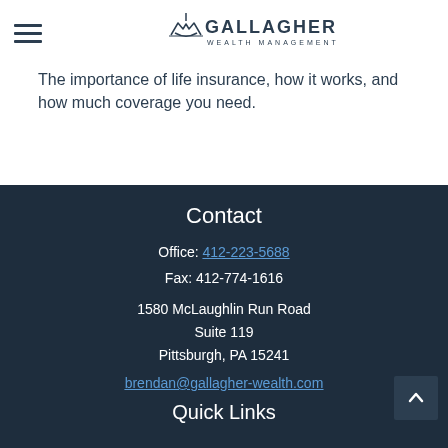Gallagher Wealth Management
The importance of life insurance, how it works, and how much coverage you need.
Contact
Office: 412-223-5688
Fax: 412-774-1616
1580 McLaughlin Run Road
Suite 119
Pittsburgh, PA 15241
brendan@gallagher-wealth.com
Quick Links